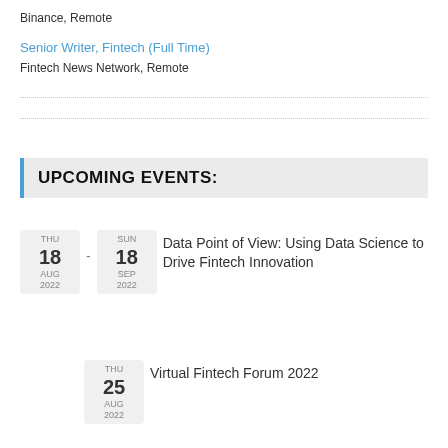Binance, Remote
Senior Writer, Fintech (Full Time)
Fintech News Network, Remote
UPCOMING EVENTS:
THU 18 AUG 2022 - SUN 18 SEP 2022 | Data Point of View: Using Data Science to Drive Fintech Innovation
THU 25 AUG 2022 | Virtual Fintech Forum 2022